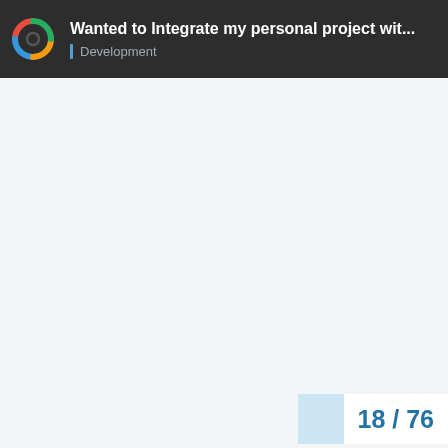Wanted to Integrate my personal project wit... | Development
18 / 76